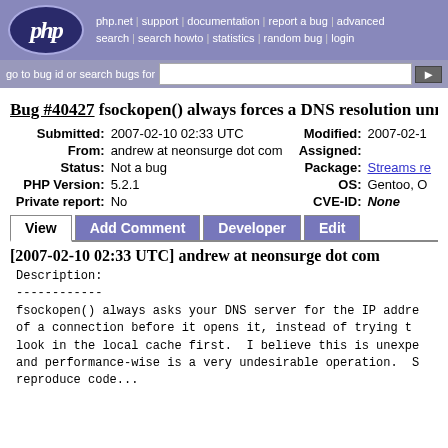php.net | support | documentation | report a bug | advanced search | search howto | statistics | random bug | login
go to bug id or search bugs for
Bug #40427 fsockopen() always forces a DNS resolution unnecessarily
| Label | Value | Label | Value |
| --- | --- | --- | --- |
| Submitted: | 2007-02-10 02:33 UTC | Modified: | 2007-02-10... |
| From: | andrew at neonsurge dot com | Assigned: |  |
| Status: | Not a bug | Package: | Streams re... |
| PHP Version: | 5.2.1 | OS: | Gentoo, O... |
| Private report: | No | CVE-ID: | None |
View | Add Comment | Developer | Edit
[2007-02-10 02:33 UTC] andrew at neonsurge dot com
Description:
------------
fsockopen() always asks your DNS server for the IP address of a connection before it opens it, instead of trying to look in the local cache first.  I believe this is unexpected and performance-wise is a very undesirable operation.  S reproduce code...